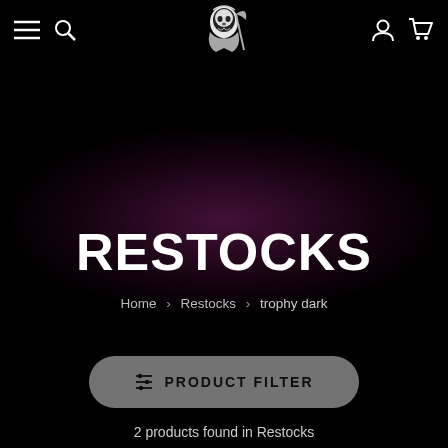Navigation bar with menu, search, logo, account, and cart icons
[Figure (illustration): Large stylized italic grunge text 'RESTOCKS' in dark purple/maroon as background graphic with radial glow]
RESTOCKS
Home > Restocks > trophy dark
PRODUCT FILTER
2 products found in Restocks